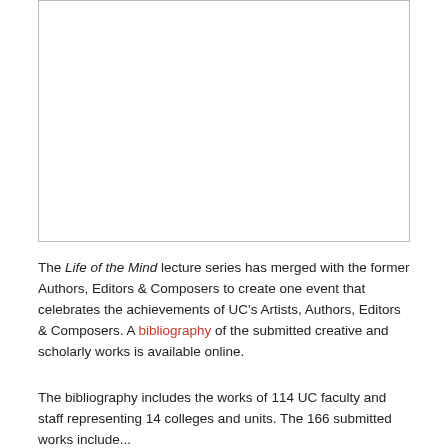[Figure (photo): White image box with border, representing a photo placeholder at the top of the page.]
The Life of the Mind lecture series has merged with the former Authors, Editors & Composers to create one event that celebrates the achievements of UC's Artists, Authors, Editors & Composers. A bibliography of the submitted creative and scholarly works is available online.
The bibliography includes the works of 114 UC faculty and staff representing 14 colleges and units. The 166 submitted works include...